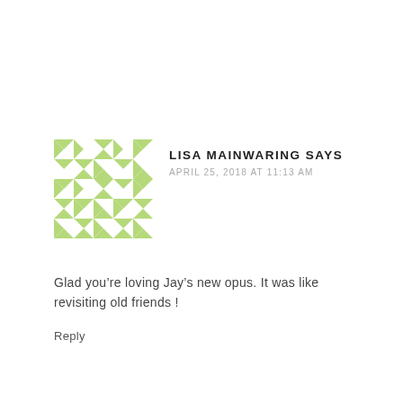[Figure (illustration): Green and white geometric/quilt-pattern avatar icon for user Lisa Mainwaring]
LISA MAINWARING SAYS
APRIL 25, 2018 AT 11:13 AM
Glad you’re loving Jay’s new opus. It was like revisiting old friends !
Reply